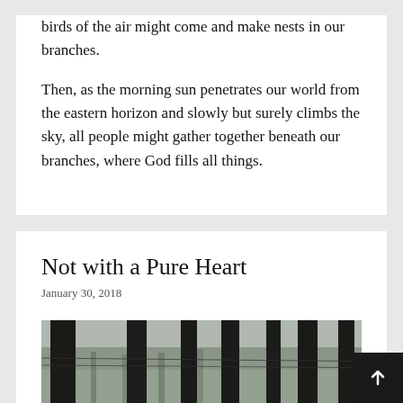birds of the air might come and make nests in our branches.
Then, as the morning sun penetrates our world from the eastern horizon and slowly but surely climbs the sky, all people might gather together beneath our branches, where God fills all things.
Not with a Pure Heart
January 30, 2018
[Figure (photo): A misty forest scene showing tall, dark tree trunks in the foreground with dense evergreen trees visible in the foggy background, taken in overcast/foggy conditions.]